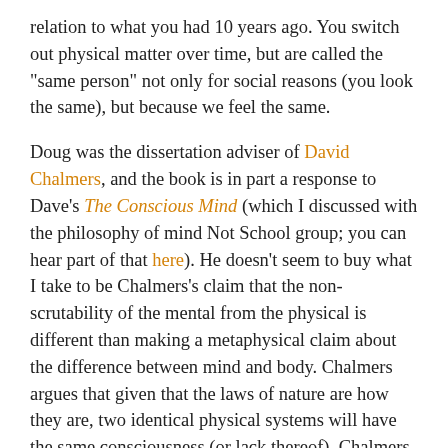relation to what you had 10 years ago. You switch out physical matter over time, but are called the "same person" not only for social reasons (you look the same), but because we feel the same.
Doug was the dissertation adviser of David Chalmers, and the book is in part a response to Dave's The Conscious Mind (which I discussed with the philosophy of mind Not School group; you can hear part of that here). He doesn't seem to buy what I take to be Chalmers's claim that the non-scrutability of the mental from the physical is different than making a metaphysical claim about the difference between mind and body. Chalmers argues that given that the laws of nature are how they are, two identical physical systems will have the same consciousness (or lack thereof). Chalmers and Doug on that, and that this correlation is not belied by the fact that as a practical matter, one can't translate mental talk into